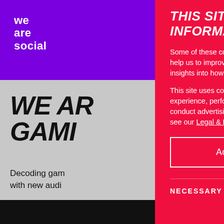[Figure (screenshot): We Are Social website background — purple header with logo, grey content area showing 'WE ARE GAMING' heading and subtitle text, black bar at bottom]
THIS SITE USES COOKIES TO STORE INFORMATION ON YOUR COMPUTER
Some of these cookies are essential, while others help us to improve your experience by providing insights into how the site is being used.
This site uses cookies to improve your browsing experience, perform analytics and research, and conduct advertising. To change your preferences see our Legal & Privacy.
Accept recommended settings
NECESSARY COOKIES